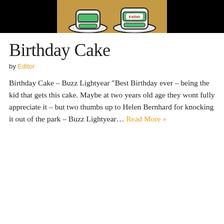[Figure (photo): Photo of a birthday cake decoration showing Buzz Lightyear figure with the name 'Kailiah' written on it, against a black background.]
Birthday Cake
by Editor
Birthday Cake – Buzz Lightyear “Best Birthday ever – being the kid that gets this cake. Maybe at two years old age they wont fully appreciate it – but two thumbs up to Helen Bernhard for knocking it out of the park – Buzz Lightyear… Read More »